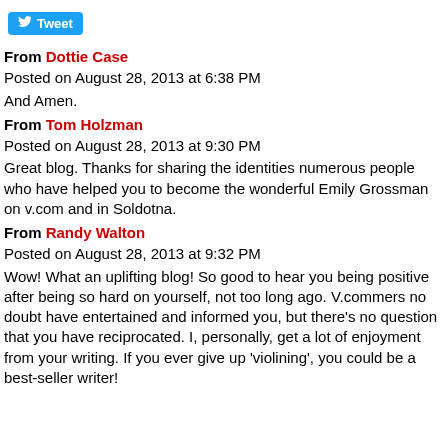[Figure (other): Twitter Tweet button with bird icon]
From Dottie Case
Posted on August 28, 2013 at 6:38 PM
And Amen.
From Tom Holzman
Posted on August 28, 2013 at 9:30 PM
Great blog. Thanks for sharing the identities numerous people who have helped you to become the wonderful Emily Grossman on v.com and in Soldotna.
From Randy Walton
Posted on August 28, 2013 at 9:32 PM
Wow! What an uplifting blog! So good to hear you being positive after being so hard on yourself, not too long ago. V.commers no doubt have entertained and informed you, but there's no question that you have reciprocated. I, personally, get a lot of enjoyment from your writing. If you ever give up 'violining', you could be a best-seller writer!